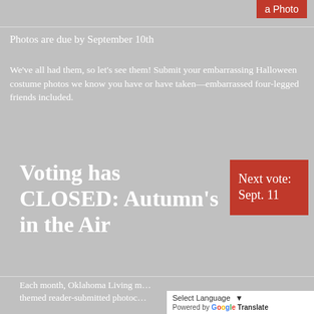Photos are due by September 10th
We've all had them, so let's see them! Submit your embarrassing Halloween costume photos we know you have or have taken—embarrassed four-legged friends included.
Voting has CLOSED: Autumn's in the Air
Next vote: Sept. 11
Each month, Oklahoma Living m… themed reader-submitted photoc…
Select Language · Powered by Google Translate